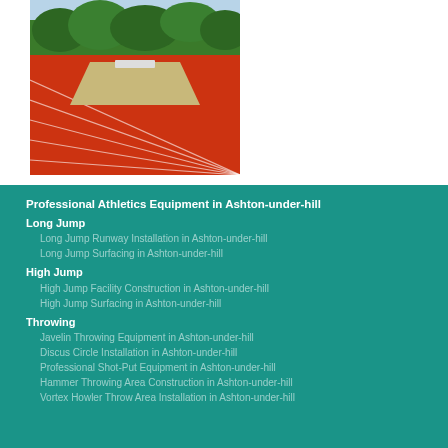[Figure (photo): Aerial view of a red athletic running track with white lane lines and a sand-filled long jump pit area in the foreground, with green trees in the background.]
Professional Athletics Equipment in Ashton-under-hill
Long Jump
Long Jump Runway Installation in Ashton-under-hill
Long Jump Surfacing in Ashton-under-hill
High Jump
High Jump Facility Construction in Ashton-under-hill
High Jump Surfacing in Ashton-under-hill
Throwing
Javelin Throwing Equipment in Ashton-under-hill
Discus Circle Installation in Ashton-under-hill
Professional Shot-Put Equipment in Ashton-under-hill
Hammer Throwing Area Construction in Ashton-under-hill
Vortex Howler Throw Area Installation in Ashton-under-hill